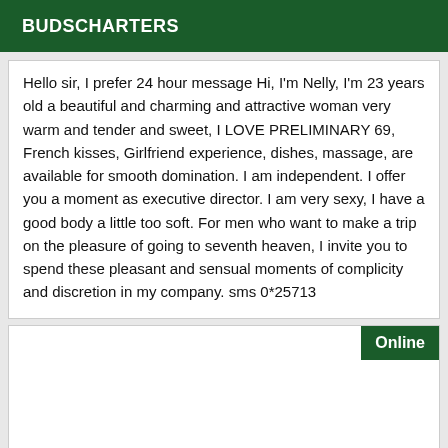BUDSCHARTERS
Hello sir, I prefer 24 hour message Hi, I'm Nelly, I'm 23 years old a beautiful and charming and attractive woman very warm and tender and sweet, I LOVE PRELIMINARY 69, French kisses, Girlfriend experience, dishes, massage, are available for smooth domination. I am independent. I offer you a moment as executive director. I am very sexy, I have a good body a little too soft. For men who want to make a trip on the pleasure of going to seventh heaven, I invite you to spend these pleasant and sensual moments of complicity and discretion in my company. sms 0*25713
Online